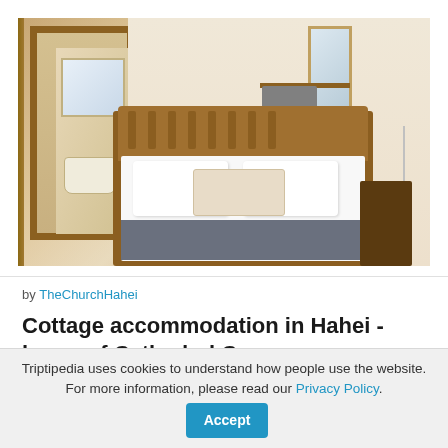[Figure (photo): Interior photo of a bedroom with wooden bed frame and white bedding, gray bed runner, two white pillows, wooden headboard with slats, nightstand with lamp on right, kitchenette area in background with shelves and microwave, bathroom visible through doorway on left with pedestal sink and mirror]
by TheChurchHahei
Cottage accommodation in Hahei - home of Cathedral Cove
📍 Hahei, New Zealand
Triptipedia uses cookies to understand how people use the website. For more information, please read our Privacy Policy. Accept